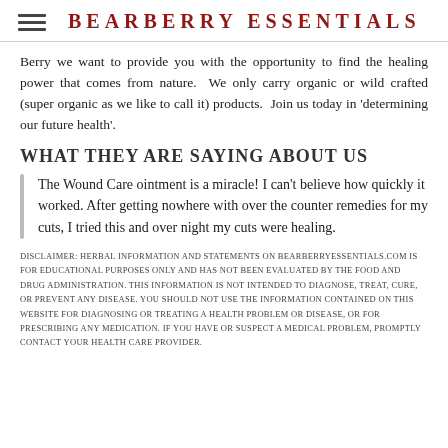BEARBERRY ESSENTIALS
Berry we want to provide you with the opportunity to find the healing power that comes from nature.  We only carry organic or wild crafted (super organic as we like to call it) products.  Join us today in 'determining our future health'.
WHAT THEY ARE SAYING ABOUT US
The Wound Care ointment is a miracle! I can't believe how quickly it worked. After getting nowhere with over the counter remedies for my cuts, I tried this and over night my cuts were healing.
DISCLAIMER: HERBAL INFORMATION AND STATEMENTS ON BEARBERRYESSENTIALS.COM IS FOR EDUCATIONAL PURPOSES ONLY AND HAS NOT BEEN EVALUATED BY THE FOOD AND DRUG ADMINISTRATION. THIS INFORMATION IS NOT INTENDED TO DIAGNOSE, TREAT, CURE, OR PREVENT ANY DISEASE. YOU SHOULD NOT USE THE INFORMATION CONTAINED ON THIS WEBSITE FOR DIAGNOSING OR TREATING A HEALTH PROBLEM OR DISEASE, OR FOR PRESCRIBING ANY MEDICATION. IF YOU HAVE OR SUSPECT A MEDICAL PROBLEM, PROMPTLY CONTACT YOUR HEALTH CARE PROVIDER.